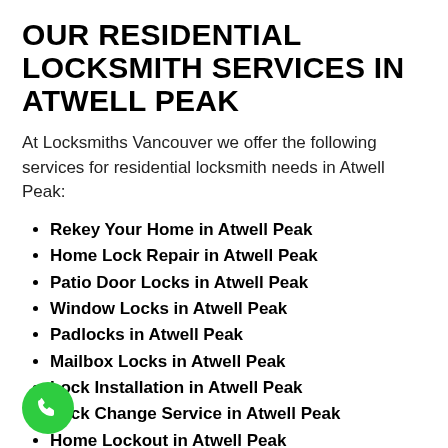OUR RESIDENTIAL LOCKSMITH SERVICES IN ATWELL PEAK
At Locksmiths Vancouver we offer the following services for residential locksmith needs in Atwell Peak:
Rekey Your Home in Atwell Peak
Home Lock Repair in Atwell Peak
Patio Door Locks in Atwell Peak
Window Locks in Atwell Peak
Padlocks in Atwell Peak
Mailbox Locks in Atwell Peak
Lock Installation in Atwell Peak
Lock Change Service in Atwell Peak
Home Lockout in Atwell Peak
Key Duplication in Atwell Peak
Emergency Residential Locksmith in Atwell